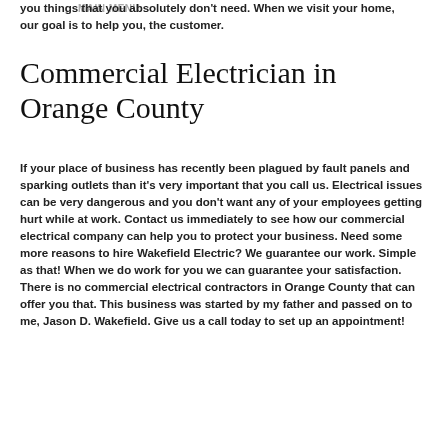you things that you absolutely don't need. When we visit your home, our goal is to help you, the customer.
MAIN MENU
Commercial Electrician in Orange County
If your place of business has recently been plagued by fault panels and sparking outlets than it's very important that you call us. Electrical issues can be very dangerous and you don't want any of your employees getting hurt while at work. Contact us immediately to see how our commercial electrical company can help you to protect your business. Need some more reasons to hire Wakefield Electric? We guarantee our work. Simple as that! When we do work for you we can guarantee your satisfaction. There is no commercial electrical contractors in Orange County that can offer you that. This business was started by my father and passed on to me, Jason D. Wakefield. Give us a call today to set up an appointment!